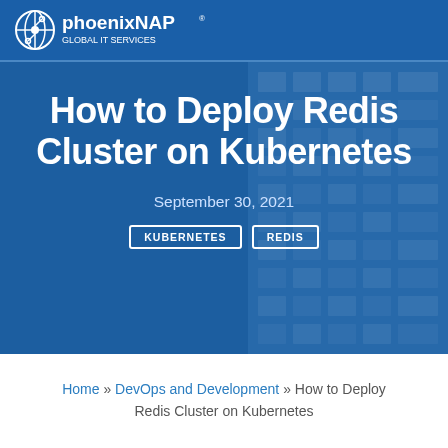phoenixNAP GLOBAL IT SERVICES
How to Deploy Redis Cluster on Kubernetes
September 30, 2021
KUBERNETES
REDIS
Home » DevOps and Development » How to Deploy Redis Cluster on Kubernetes